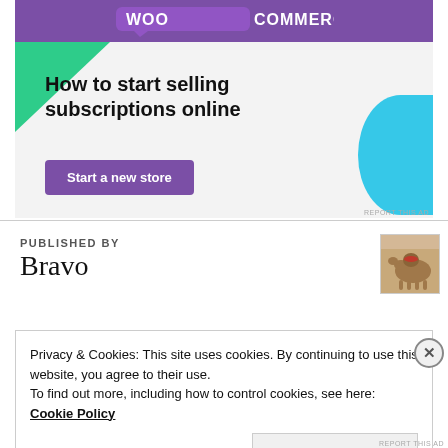[Figure (screenshot): WooCommerce advertisement banner: purple header with WooCommerce logo, green triangle decoration, cyan arc, bold text 'How to start selling subscriptions online', purple 'Start a new store' button]
PUBLISHED BY
Bravo
[Figure (photo): Small thumbnail image of a camel with a saddle]
Privacy & Cookies: This site uses cookies. By continuing to use this website, you agree to their use.
To find out more, including how to control cookies, see here: Cookie Policy
Close and accept